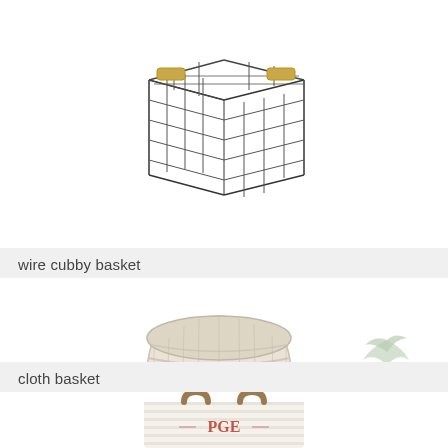[Figure (photo): Wire cubby basket with a black metal grid structure and two gold/yellow handles, shown at an angle on white background]
wire cubby basket
[Figure (photo): Round cloth/rope coil basket in off-white/cream color with a small loop handle on the side, shown on white background]
[Figure (illustration): Decorative botanical illustration with the text 'back to top' written in cursive, with green leaf/branch motifs]
cloth basket
[Figure (photo): Partial view of a striped tote bag with brown leather handles and red monogram lettering, shown at bottom of page]